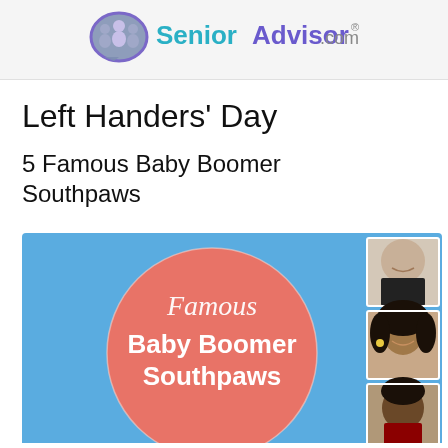[Figure (logo): SeniorAdvisor.com logo with speech bubble icon containing three people silhouettes, text 'SeniorAdvisor' in teal/blue and '.com' in gray, registered trademark symbol]
Left Handers’ Day
5 Famous Baby Boomer Southpaws
[Figure (infographic): Infographic with blue background showing a coral/salmon colored circle with script text 'Famous' and white bold text 'Baby Boomer Southpaws'. On the right side are three portrait photos: top - bald man smiling (Bruce Willis), middle - woman with curly hair (Oprah Winfrey), bottom - partial view of a man (Barack Obama).]